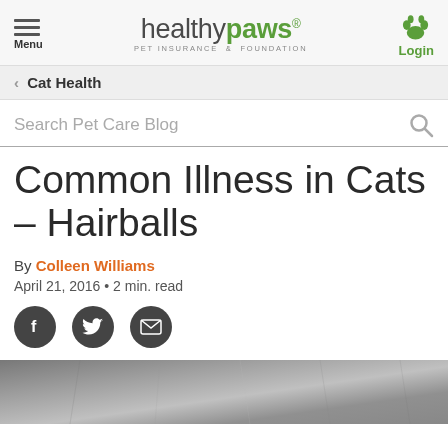healthy paws® PET INSURANCE & FOUNDATION | Menu | Login
Cat Health
Search Pet Care Blog
Common Illness in Cats – Hairballs
By Colleen Williams
April 21, 2016 • 2 min. read
[Figure (photo): Close-up photo of a cat with gray fur]